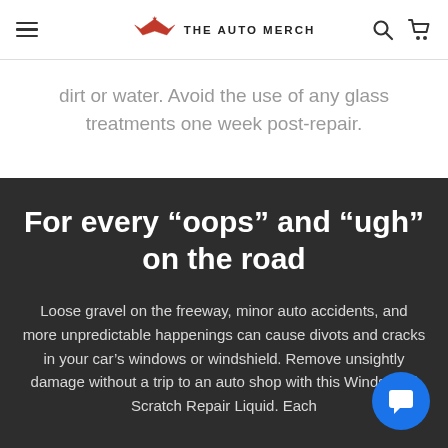THE AUTO MERCH
dirt or water. Avoid the use of any glass treatments one week post-repair.
For every “oops” and “ugh” on the road
Loose gravel on the freeway, minor auto accidents, and more unpredictable happenings can cause divots and cracks in your car’s windows or windshield. Remove unsightly damage without a trip to an auto shop with this Windshield Scratch Repair Liquid. Each